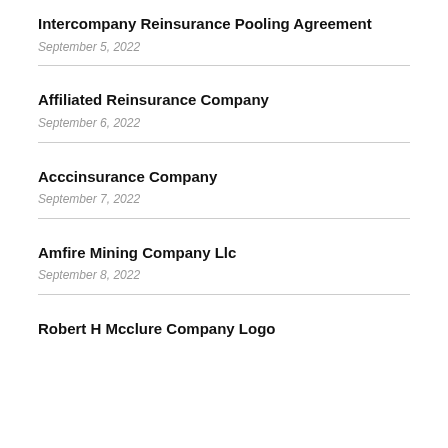Intercompany Reinsurance Pooling Agreement
September 5, 2022
Affiliated Reinsurance Company
September 6, 2022
Acccinsurance Company
September 7, 2022
Amfire Mining Company Llc
September 8, 2022
Robert H Mcclure Company Logo